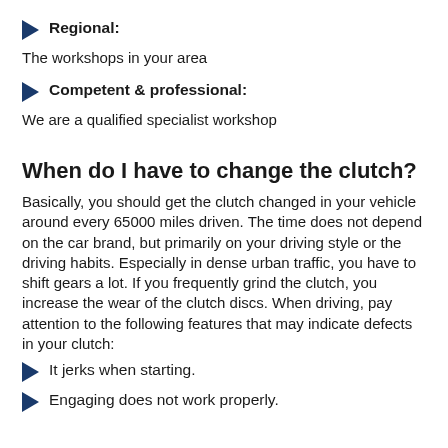Regional:
The workshops in your area
Competent & professional:
We are a qualified specialist workshop
When do I have to change the clutch?
Basically, you should get the clutch changed in your vehicle around every 65000 miles driven. The time does not depend on the car brand, but primarily on your driving style or the driving habits. Especially in dense urban traffic, you have to shift gears a lot. If you frequently grind the clutch, you increase the wear of the clutch discs. When driving, pay attention to the following features that may indicate defects in your clutch:
It jerks when starting.
Engaging does not work properly.